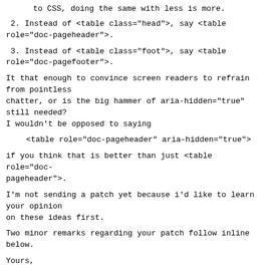to CSS, doing the same with less is more.
2. Instead of <table class="head">, say <table role="doc-pageheader">.
3. Instead of <table class="foot">, say <table role="doc-pagefooter">.
It that enough to convince screen readers to refrain from pointless
chatter, or is the big hammer of aria-hidden="true" still needed?
I wouldn't be opposed to saying
<table role="doc-pageheader" aria-hidden="true">
if you think that is better than just <table role="doc-pageheader">.
I'm not sending a patch yet because i'd like to learn your opinion
on these ideas first.
Two minor remarks regarding your patch follow inline below.
Yours,
  Ingo
Anna “CyberTailor” wrote on Tue, Jun 21, 2022 at